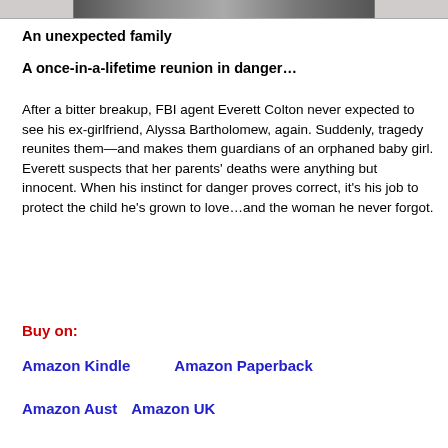[Figure (photo): Partial book cover image strip at the top of the page]
An unexpected family
A once-in-a-lifetime reunion in danger…
After a bitter breakup, FBI agent Everett Colton never expected to see his ex-girlfriend, Alyssa Bartholomew, again. Suddenly, tragedy reunites them—and makes them guardians of an orphaned baby girl. Everett suspects that her parents' deaths were anything but innocent. When his instinct for danger proves correct, it's his job to protect the child he's grown to love…and the woman he never forgot.
Buy on:
Amazon Kindle    Amazon Paperback
Amazon Aust    Amazon UK